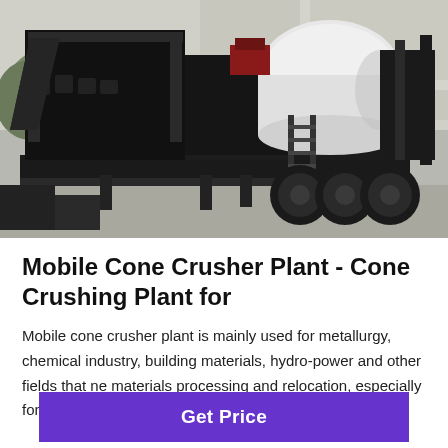[Figure (photo): Black mobile cone crusher plant on a flatbed trailer with wheels, parked outdoors on a concrete surface. White cylindrical component visible on the right side. Ladder visible in the center. Background shows a building and trees.]
Mobile Cone Crusher Plant - Cone Crushing Plant for
Mobile cone crusher plant is mainly used for metallurgy, chemical industry, building materials, hydro-power and other fields that need materials processing and relocation, especially for highways,…
[Figure (other): Purple scroll-to-top button with upward chevron arrow icon]